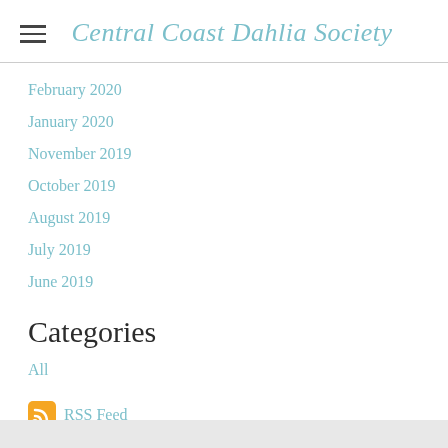Central Coast Dahlia Society
February 2020
January 2020
November 2019
October 2019
August 2019
July 2019
June 2019
Categories
All
RSS Feed